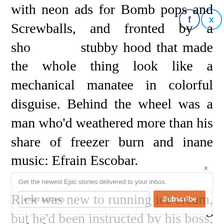with neon ads for Bomb pops and Screwballs, and fronted by a short stubby hood that made the whole thing look like a mechanical manatee in colorful disguise. Behind the wheel was a man who'd weathered more than his share of freezer burn and inane music: Efrain Escobar.
Rick fumbled for his phone. "He's here!" Rick said. "He's heading right for me!"
Rick was new to running ice cream, but he'd been instructed by his boss, Dennis Roeper, the proprietor of Keizer